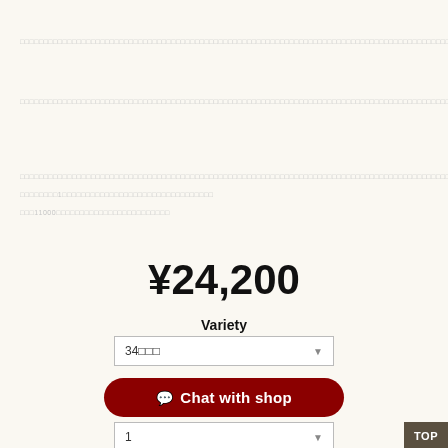□□□□□□□□□□□□□□□□□□□□□□□□□□□□□□□□□□□□□□□□□□□□□□□□□□□□□□□□□□□□□□□□□□□□□□□□□□□□□□□□□□□□□□□□□□□□□□□□□□□□□□□□□□□□□□□□□□□□□□□□□□□□□□□□□□□□□□□□□□□□□□□□□□□□□□□□□□□□□□□□□□□□□□□□□□□□□□□□□□□□□□□□□□□□□□□□□□□□□□□□□□□□□□□□□□□□□□□□□□□□□□□□□□□□□□
□□□□□□□□□□□□□□□□□□□□□□□□□□□□□□□□□□□□□□□□□□□□□□□□□□□□□□□□□□□□□□□□□□□□□□□□□□□□□□□□□□□□□□□□□□□□□□□□□□□□□□□□□□□□□□□□□□□□□
□□□□□□□□□□□□□□□□□□□□□□□□□□□□□□□□□□□□□□□□□□□□□□□□□□□□□□□□□□□□□□□□□□□□□□□□□□□□□□□□□□□□□□□□□□□□□□□□□□□□
□□□□□□□□1□□□□□□□□□□□□□□□□□□□□□□□□□□□□□□□□
□□□11000□□□□□□□□□□□□□□□□□□□□□□□□
¥24,200
Variety
34□□□
Chat with shop
1